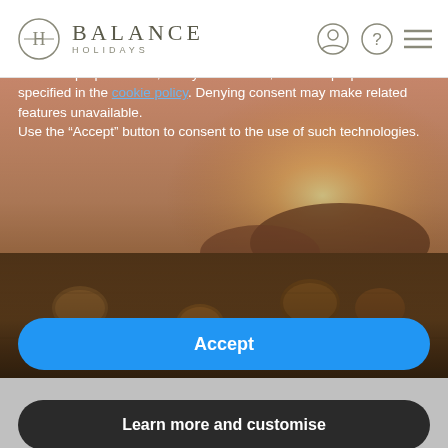[Figure (logo): Balance Holidays logo with circular H icon and text]
[Figure (photo): Sunset landscape with hay bales in a golden field]
Notice
We and selected third parties use cookies or similar technologies for technical purposes and, with your consent, for other purposes as specified in the cookie policy. Denying consent may make related features unavailable.
Use the “Accept” button to consent to the use of such technologies.
Accept
Learn more and customise